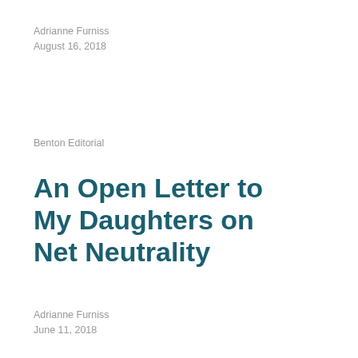Adrianne Furniss
August 16, 2018
Benton Editorial
An Open Letter to My Daughters on Net Neutrality
Adrianne Furniss
June 11, 2018